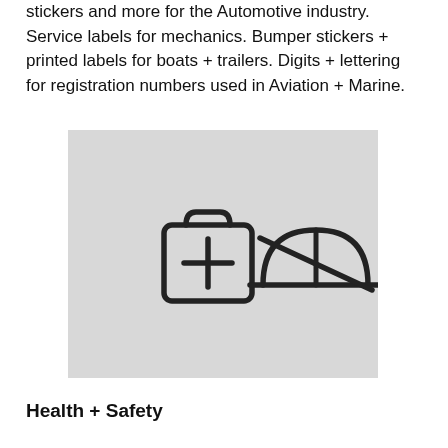stickers and more for the Automotive industry. Service labels for mechanics. Bumper stickers + printed labels for boats + trailers. Digits + lettering for registration numbers used in Aviation + Marine.
[Figure (illustration): A first aid kit (briefcase with a cross symbol) and a hard hat icon on a light gray background, representing Health + Safety category.]
Health + Safety